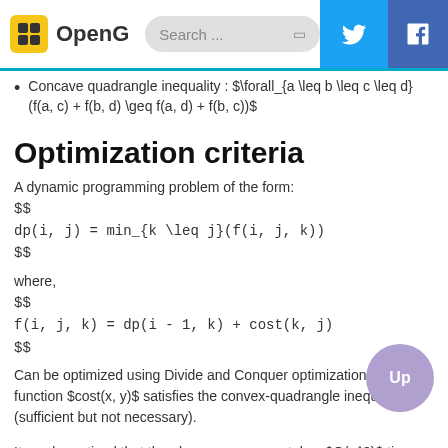OpenG | Search...
Concave quadrangle inequality : $\forall_{a \leq b \leq c \leq d}(f(a, c) + f(b, d) \geq f(a, d) + f(b, c))$
Optimization criteria
A dynamic programming problem of the form:
where,
Can be optimized using Divide and Conquer optimization if the function $cost(x, y)$ satisfies the convex-quadrangle inequality (sufficient but not necessary).
It can be noticed that the above recurrence, takes $O(n^3)$ time